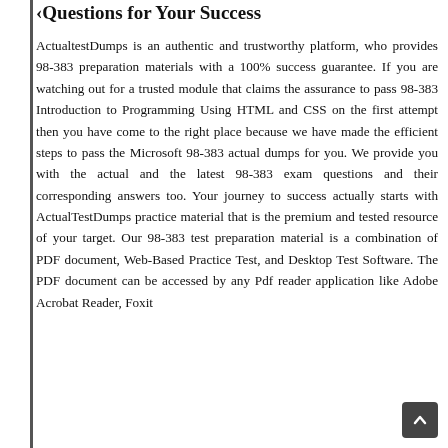Questions for Your Success
ActualtestDumps is an authentic and trustworthy platform, who provides 98-383 preparation materials with a 100% success guarantee. If you are watching out for a trusted module that claims the assurance to pass 98-383 Introduction to Programming Using HTML and CSS on the first attempt then you have come to the right place because we have made the efficient steps to pass the Microsoft 98-383 actual dumps for you. We provide you with the actual and the latest 98-383 exam questions and their corresponding answers too. Your journey to success actually starts with ActualTestDumps practice material that is the premium and tested resource of your target. Our 98-383 test preparation material is a combination of PDF document, Web-Based Practice Test, and Desktop Test Software. The PDF document can be accessed by any Pdf reader application like Adobe Acrobat Reader, Foxit